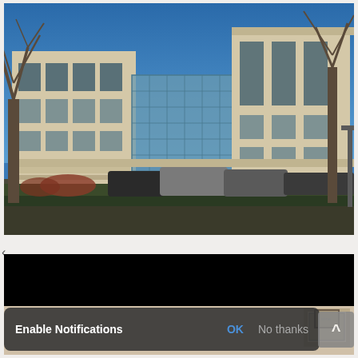[Figure (photo): Exterior photograph of a large government/institutional building with beige/cream stone facade, multiple stories, large windows, glass atrium section visible in the center. Bare trees in the foreground, blue sky background. Parking area with SUVs visible at street level, trimmed hedges along the front.]
[Figure (screenshot): Partially visible screenshot showing a dark/black top section (video player or content area) and below it a partial interior room photo. A mobile browser notification bar overlaid at the bottom reads 'Enable Notifications' with 'OK' and 'No thanks' options, and a scroll-up button on the right.]